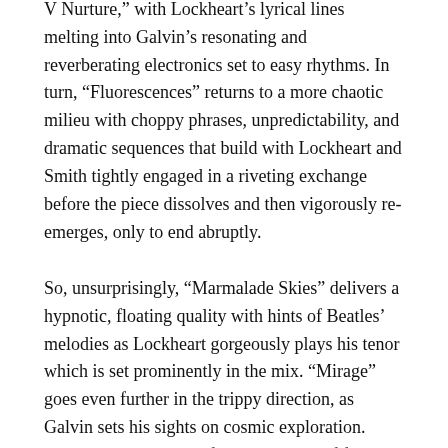sequencing of three to five minute pieces, returns to more languid, spaced-out territory in “Nature V Nurture,” with Lockheart’s lyrical lines melting into Galvin’s resonating and reverberating electronics set to easy rhythms. In turn, “Fluorescences” returns to a more chaotic milieu with choppy phrases, unpredictability, and dramatic sequences that build with Lockheart and Smith tightly engaged in a riveting exchange before the piece dissolves and then vigorously re-emerges, only to end abruptly.
So, unsurprisingly, “Marmalade Skies” delivers a hypnotic, floating quality with hints of Beatles’ melodies as Lockheart gorgeously plays his tenor which is set prominently in the mix. “Mirage” goes even further in the trippy direction, as Galvin sets his sights on cosmic exploration. Lockheart’s parts here float in and out of focus, sometimes serving as echoes to the industrial-like chatter in the forefront. The Kraftwerk influence is at play.